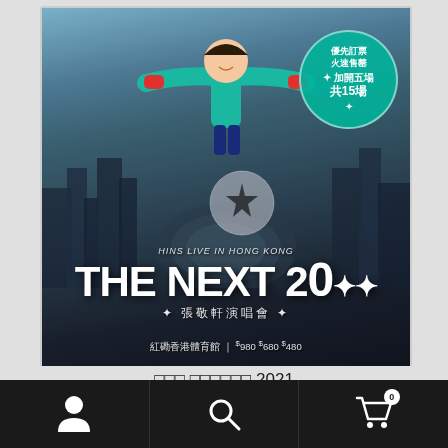[Figure (photo): Concert promotional poster for 'Hins Live in Hong Kong The Next 20' (張敬軒演唱會). Features a person in teal outfit with arms spread over aerial city view. Teal circular badge reads 優先訂票火速售罄 加開五場 共15場. Text overlay includes concert name THE NEXT 20, 張敬軒演唱會, 紅磡香港體育館, $980 $680 $480.]
□□□ □□□□□□ 2021
[Figure (screenshot): Scroll-up button (white rounded square with blue circle containing upward chevron arrow)]
[Figure (screenshot): Buy ticket dark blue button with Chinese characters □□□□]
[Figure (screenshot): Bottom navigation bar with person icon, search/magnifier icon, and shopping cart icon with badge showing 0]